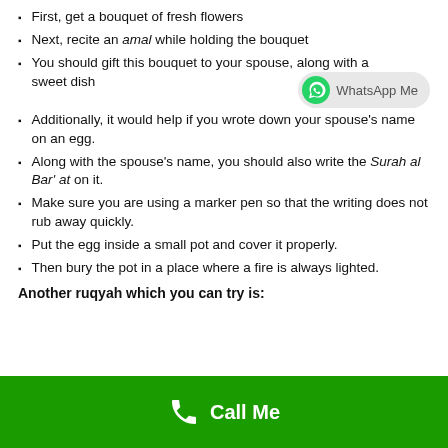First, get a bouquet of fresh flowers
Next, recite an amal while holding the bouquet
You should gift this bouquet to your spouse, along with a sweet dish
Additionally, it would help if you wrote down your spouse's name on an egg.
Along with the spouse's name, you should also write the Surah al Bar' at on it.
Make sure you are using a marker pen so that the writing does not rub away quickly.
Put the egg inside a small pot and cover it properly.
Then bury the pot in a place where a fire is always lighted.
Another ruqyah which you can try is:
[Figure (infographic): Green footer bar with white phone icon and 'Call Me' text]
[Figure (logo): WhatsApp Me badge with green WhatsApp icon on grey rounded rectangle]